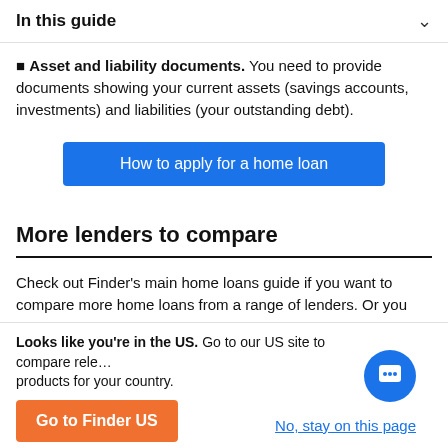In this guide
Asset and liability documents. You need to provide documents showing your current assets (savings accounts, investments) and liabilities (your outstanding debt).
[Figure (other): Blue button: How to apply for a home loan]
More lenders to compare
Check out Finder's main home loans guide if you want to compare more home loans from a range of lenders. Or you could try one of the following lenders:
ING. This online bank is part of the global, Dutch
Looks like you're in the US. Go to our US site to compare relevant products for your country.
[Figure (other): Orange button: Go to Finder US; Link: No, stay on this page; Chat button]